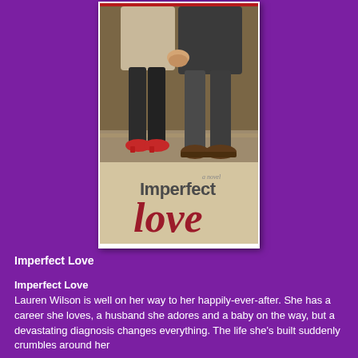[Figure (illustration): Book cover of 'Imperfect Love: a novel' showing two people sitting side by side on a ledge, visible from waist down. The woman wears black leggings and red heels, the man wears dark jeans and brown shoes. The lower portion has a beige/tan background with the title 'Imperfect Love' in large dark red script and 'a novel' in small gray text above.]
Imperfect Love
Imperfect Love
Lauren Wilson is well on her way to her happily-ever-after. She has a career she loves, a husband she adores and a baby on the way, but a devastating diagnosis changes everything. The life she's built suddenly crumbles around her